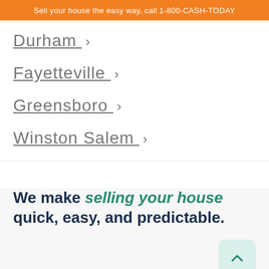Sell your house the easy way, call 1-800-CASH-TODAY
Durham >
Fayetteville >
Greensboro >
Winston Salem >
We make selling your house quick, easy, and predictable.